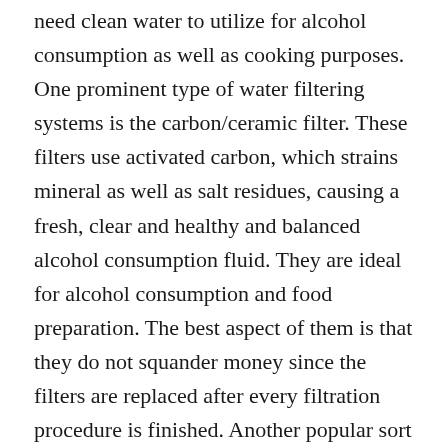need clean water to utilize for alcohol consumption as well as cooking purposes. One prominent type of water filtering systems is the carbon/ceramic filter. These filters use activated carbon, which strains mineral as well as salt residues, causing a fresh, clear and healthy and balanced alcohol consumption fluid. They are ideal for alcohol consumption and food preparation. The best aspect of them is that they do not squander money since the filters are replaced after every filtration procedure is finished. Another popular sort of purification is the turned on carbon as well as ceramic water filtering system systems. These filters employ strong carbon granules, which traps tiny particles as well as mineral deposits. Activated carbon has the capability to alter little bits into co2, which is after that filtered out and also discarded.